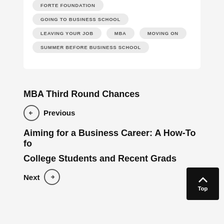FORTE FOUNDATION
GOING TO BUSINESS SCHOOL
LEAVING YOUR JOB
MBA
MOVING ON
SUMMER BEFORE BUSINESS SCHOOL
MBA Third Round Chances
← Previous
Aiming for a Business Career: A How-To for College Students and Recent Grads
Next →